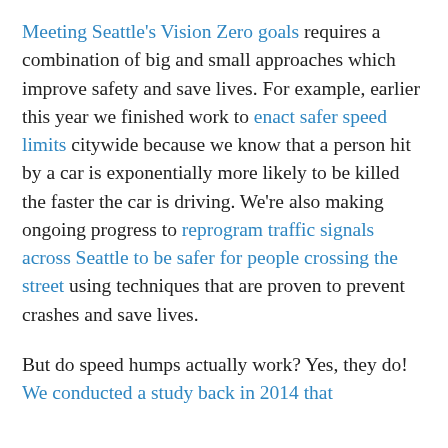Meeting Seattle's Vision Zero goals requires a combination of big and small approaches which improve safety and save lives. For example, earlier this year we finished work to enact safer speed limits citywide because we know that a person hit by a car is exponentially more likely to be killed the faster the car is driving. We're also making ongoing progress to reprogram traffic signals across Seattle to be safer for people crossing the street using techniques that are proven to prevent crashes and save lives.
But do speed humps actually work? Yes, they do! We conducted a study back in 2014 that